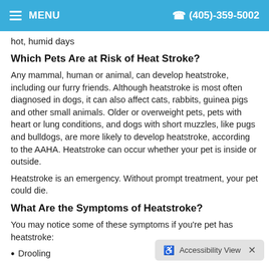MENU   (405)-359-5002
hot, humid days
Which Pets Are at Risk of Heat Stroke?
Any mammal, human or animal, can develop heatstroke, including our furry friends. Although heatstroke is most often diagnosed in dogs, it can also affect cats, rabbits, guinea pigs and other small animals. Older or overweight pets, pets with heart or lung conditions, and dogs with short muzzles, like pugs and bulldogs, are more likely to develop heatstroke, according to the AAHA. Heatstroke can occur whether your pet is inside or outside.
Heatstroke is an emergency. Without prompt treatment, your pet could die.
What Are the Symptoms of Heatstroke?
You may notice some of these symptoms if you're pet has heatstroke:
Drooling